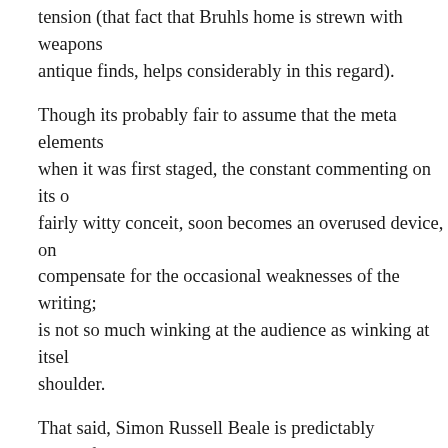tension (that fact that Bruhls home is strewn with weapons and antique finds, helps considerably in this regard).
Though its probably fair to assume that the meta elements were fresher when it was first staged, the constant commenting on its own form, a fairly witty conceit, soon becomes an overused device, one used to compensate for the occasional weaknesses of the writing; the play is not so much winking at the audience as winking at itself over its shoulder.
That said, Simon Russell Beale is predictably delightful as Brühl; impeccable, each gesture and glance well-judged, and he gives the role a level of emotional complexity, one perhaps not supplied by the script. Groff is able enough as the young playwright, Clifford, restless and clearly ambitious. Claire Skinner however seems ill at ease in her role, and Estelle Parsons casts asides any notion of nuance in her portrayal of Helga ten Dorp.